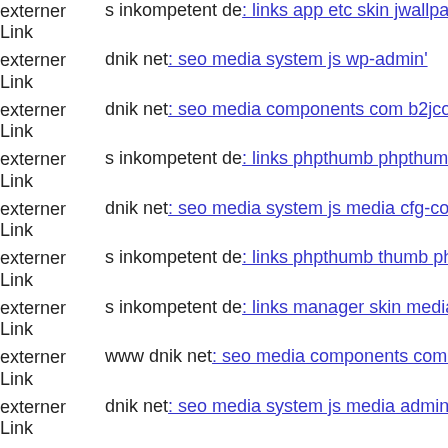externer Link  s inkompetent de: links app etc skin jwallpapers files pluplo...
externer Link  dnik net: seo media system js wp-admin'
externer Link  dnik net: seo media components com b2jcontact media prof...
externer Link  s inkompetent de: links phpthumb phpthumb libs links app...
externer Link  dnik net: seo media system js media cfg-contactform-8 inc ...
externer Link  s inkompetent de: links phpthumb thumb phpthumb style ph...
externer Link  s inkompetent de: links manager skin media system js wp-c...
externer Link  www dnik net: seo media components com b2jcontact down...
externer Link  dnik net: seo media system js media administrator compone...
externer Link  www dnik net: seo media system js media administrator tm...
externer Link  s inkompetent de: links app etc skin administrator administ...
externer Link  s inkompetent de: links wp-content api downloader compor...